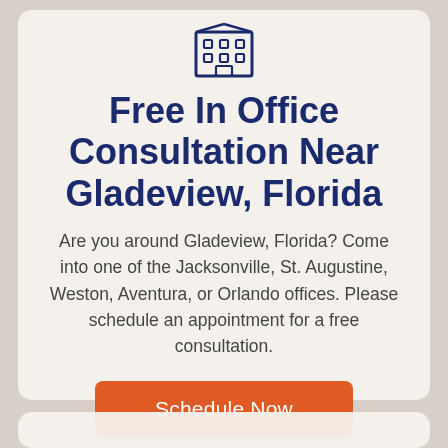[Figure (illustration): Building/office icon outline in dark navy blue]
Free In Office Consultation Near Gladeview, Florida
Are you around Gladeview, Florida? Come into one of the Jacksonville, St. Augustine, Weston, Aventura, or Orlando offices. Please schedule an appointment for a free consultation.
Schedule Now